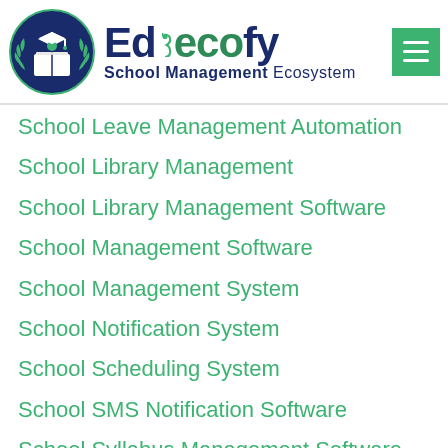[Figure (logo): Edecofy School Management Ecosystem logo with circular school emblem and brand name]
School Leave Management Automation
School Library Management
School Library Management Software
School Management Software
School Management System
School Notification System
School Scheduling System
School SMS Notification Software
School Syllabus Management Software
School Timetable Automation
Staff Management System
Student Academic Report Analytics